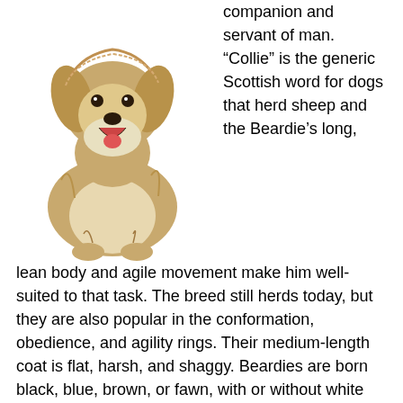[Figure (photo): A Bearded Collie dog photographed on a white background, facing forward with mouth open and tongue visible, showing its long shaggy tan and white coat.]
companion and servant of man. “Collie” is the generic Scottish word for dogs that herd sheep and the Beardie’s long, lean body and agile movement make him well-suited to that task. The breed still herds today, but they are also popular in the conformation, obedience, and agility rings. Their medium-length coat is flat, harsh, and shaggy. Beardies are born black, blue, brown, or fawn, with or without white markings. With maturity, the coat color may lighten.
History
One of Britain’s oldest breeds, Beardies (as they are often called), are believed to have originated with the Komondor in Central Europe but were used to herd animals in